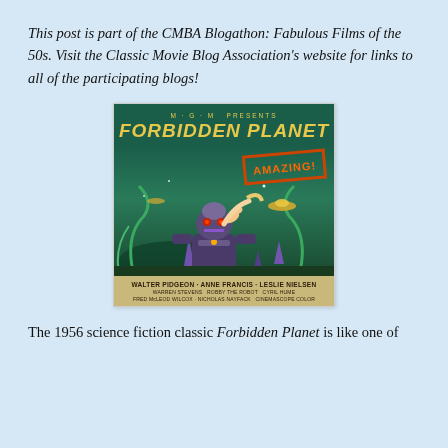This post is part of the CMBA Blogathon: Fabulous Films of the 50s. Visit the Classic Movie Blog Association's website for links to all of the participating blogs!
[Figure (illustration): Vintage movie poster for 'Forbidden Planet' (1956), an MGM film. The poster shows a large robot carrying a woman in a sci-fi landscape with flying saucers and alien plants. It includes the text 'AMAZING!' in a red bordered box, cast credits featuring Walter Pidgeon, Anne Francis, Leslie Nielsen, Warren Stevens, Robby the Robot, Cyril Hume, Fred McLeod Wilcox, Nicholas Nayfack, filmed in CinemaScope and Color.]
The 1956 science fiction classic Forbidden Planet is like one of